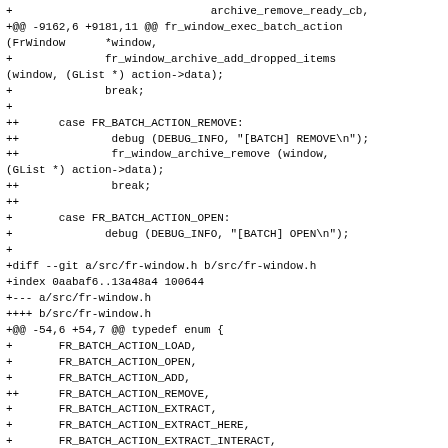+                              archive_remove_ready_cb,
+@@ -9162,6 +9181,11 @@ fr_window_exec_batch_action (FrWindow      *window,
+              fr_window_archive_add_dropped_items (window, (GList *) action->data);
+              break;
+
++      case FR_BATCH_ACTION_REMOVE:
++              debug (DEBUG_INFO, "[BATCH] REMOVE\n");
++              fr_window_archive_remove (window, (GList *) action->data);
++              break;
++
+       case FR_BATCH_ACTION_OPEN:
+              debug (DEBUG_INFO, "[BATCH] OPEN\n");
+
+diff --git a/src/fr-window.h b/src/fr-window.h
+index 0aabaf6..13a48a4 100644
+--- a/src/fr-window.h
++++ b/src/fr-window.h
+@@ -54,6 +54,7 @@ typedef enum {
+       FR_BATCH_ACTION_LOAD,
+       FR_BATCH_ACTION_OPEN,
+       FR_BATCH_ACTION_ADD,
++      FR_BATCH_ACTION_REMOVE,
+       FR_BATCH_ACTION_EXTRACT,
+       FR_BATCH_ACTION_EXTRACT_HERE,
+       FR_BATCH_ACTION_EXTRACT_INTERACT,
+--
+2.3.0